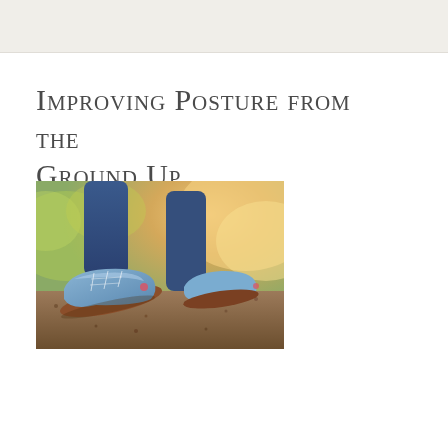Improving Posture from the Ground Up
[Figure (photo): Close-up photograph of a person's legs and feet wearing blue denim jeans and blue sneakers/athletic shoes, walking on a dirt/gravel path outdoors. Shallow depth of field with bokeh background showing green foliage and warm sunlight.]